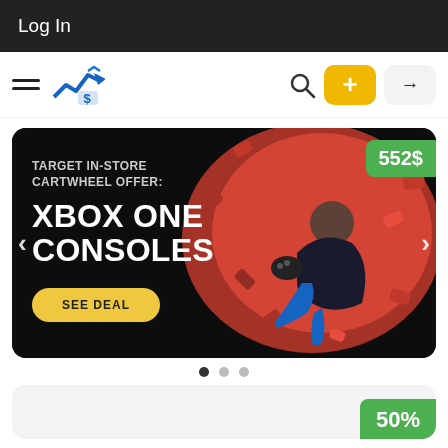Log In
[Figure (screenshot): Navigation bar with hamburger menu, financial logo (blue chart with dollar sign), search icon, yellow plus button, and login arrow button]
[Figure (infographic): Deal banner: TARGET IN-STORE CARTWHEEL OFFER: XBOX ONE CONSOLES, price tag 552$, SEE DEAL button, left/right arrows, background photo of person with red confetti]
[Figure (infographic): Bottom card partially visible, showing 50% green badge in bottom right]